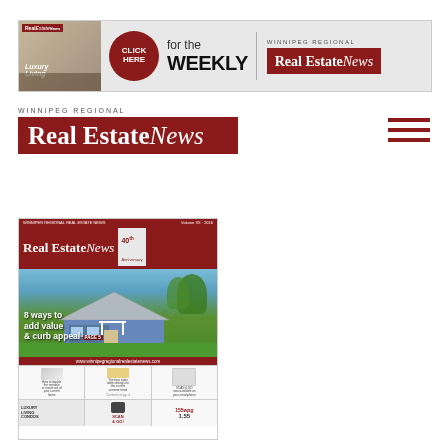[Figure (screenshot): Banner advertisement for Winnipeg Regional Real Estate News weekly publication with click here button, logo and magazine cover image]
WINNIPEG REGIONAL
Real Estate News
[Figure (screenshot): Magazine cover preview of Real Estate News 40th anniversary issue featuring a house photo with text '8 ways to add value & curb appeal' and website www.winnipegregionalrealestatenews.com]